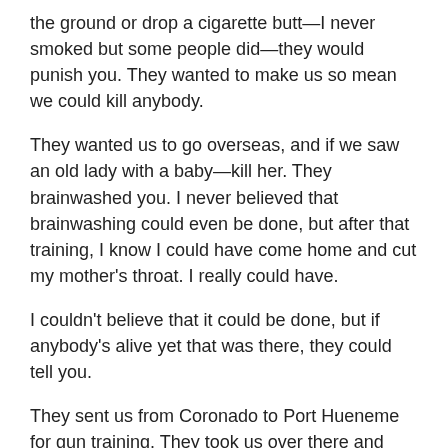the ground or drop a cigarette butt—I never smoked but some people did—they would punish you. They wanted to make us so mean we could kill anybody.
They wanted us to go overseas, and if we saw an old lady with a baby—kill her. They brainwashed you. I never believed that brainwashing could even be done, but after that training, I know I could have come home and cut my mother's throat. I really could have.
I couldn't believe that it could be done, but if anybody's alive yet that was there, they could tell you.
They sent us from Coronado to Port Hueneme for gun training. They took us over there and taught us to throw hand grenades, shoot rifles and handle machine guns. Then they taught us to shoot 20-millimeter and 40-millimeter quad anti-aircraft guns, and we used both of them over in the war.